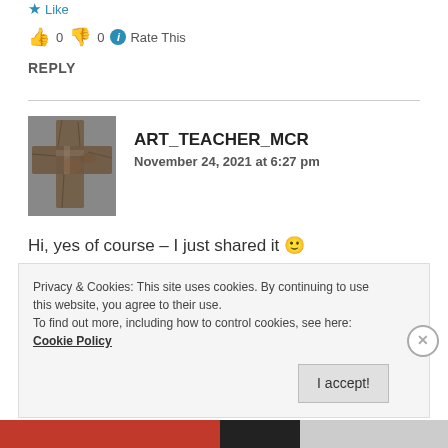★ Like
👍 0 👎 0 ℹ Rate This
REPLY
[Figure (photo): Avatar image of ART_TEACHER_MCR showing a cross made of stone/bark]
ART_TEACHER_MCR
November 24, 2021 at 6:27 pm
Hi, yes of course – I just shared it 🙂
★ Like
Privacy & Cookies: This site uses cookies. By continuing to use this website, you agree to their use.
To find out more, including how to control cookies, see here: Cookie Policy
I accept!